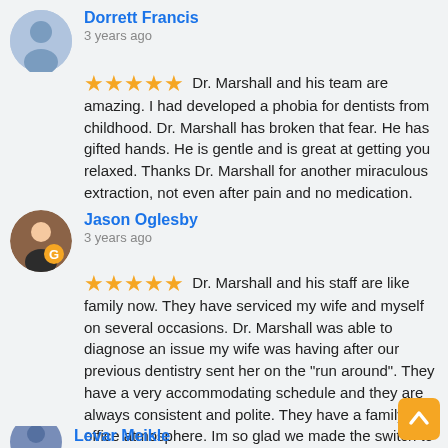Dorrett Francis — 3 years ago
★★★★★ Dr. Marshall and his team are amazing. I had developed a phobia for dentists from childhood. Dr. Marshall has broken that fear. He has gifted hands. He is gentle and is great at getting you relaxed. Thanks Dr. Marshall for another miraculous extraction, not even after pain and no medication.
Jason Oglesby — 3 years ago
★★★★★ Dr. Marshall and his staff are like family now. They have serviced my wife and myself on several occasions. Dr. Marshall was able to diagnose an issue my wife was having after our previous dentistry sent her on the "run around". They have a very accommodating schedule and they are always consistent and polite. They have a family office atmosphere. Im so glad we made the switch to them. Im proud to call them the Berewick neighborhood dentistry lol!
Levar Meikle